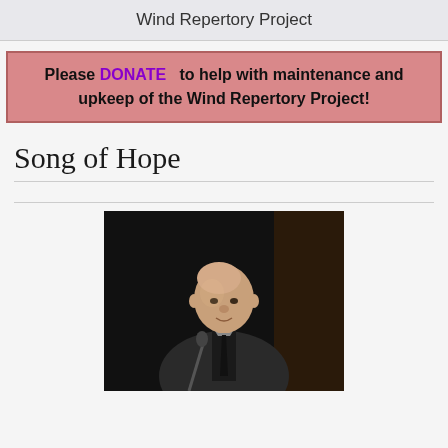Wind Repertory Project
Please DONATE to help with maintenance and upkeep of the Wind Repertory Project!
Song of Hope
[Figure (photo): A man in a dark suit at a podium/microphone, photographed at a formal event against a dark background.]